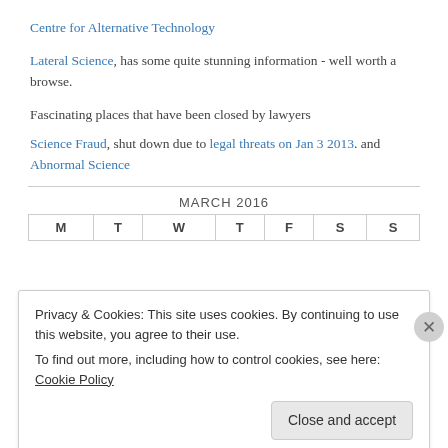Centre for Alternative Technology
Lateral Science, has some quite stunning information - well worth a browse.
Fascinating places that have been closed by lawyers
Science Fraud, shut down due to legal threats on Jan 3 2013. and Abnormal Science
| M | T | W | T | F | S | S |
| --- | --- | --- | --- | --- | --- | --- |
Privacy & Cookies: This site uses cookies. By continuing to use this website, you agree to their use.
To find out more, including how to control cookies, see here: Cookie Policy